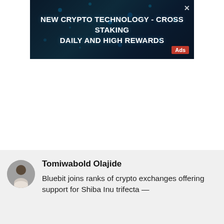[Figure (screenshot): Dark-themed crypto advertisement banner reading 'NEW CRYPTO TECHNOLOGY - CROSS STAKING DAILY AND HIGH REWARDS' with blue glowing particle effects, a red 'Ads' badge in the bottom right corner, and a close (X) button in the top right.]
Tomiwabold Olajide
Bluebit joins ranks of crypto exchanges offering support for Shiba Inu trifecta —